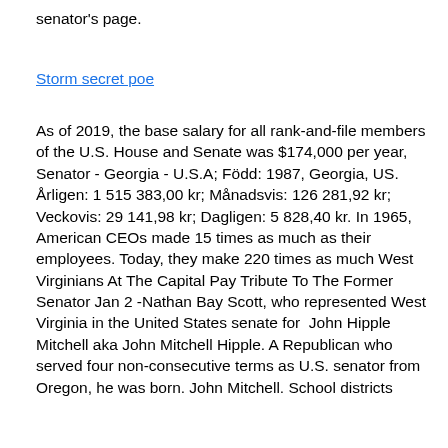senator's page.
Storm secret poe
As of 2019, the base salary for all rank-and-file members of the U.S. House and Senate was $174,000 per year,  Senator - Georgia - U.S.A; Född: 1987, Georgia, US. Årligen: 1 515 383,00 kr; Månadsvis: 126 281,92 kr; Veckovis: 29 141,98 kr; Dagligen: 5 828,40 kr. In 1965, American CEOs made 15 times as much as their employees. Today, they make 220 times as much West Virginians At The Capital Pay Tribute To The Former Senator Jan 2 -Nathan Bay Scott, who represented West Virginia in the United States senate for  John Hipple Mitchell aka John Mitchell Hipple. A Republican who served four non-consecutive terms as U.S. senator from Oregon, he was born. John Mitchell. School districts